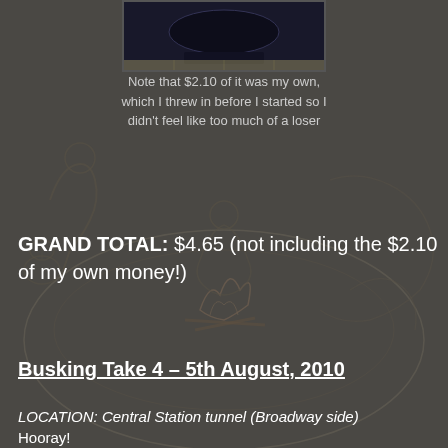[Figure (photo): Partial photo of a dark object, possibly a vehicle or equipment, on a tiled floor]
Note that $2.10 of it was my own, which I threw in before I started so I didn't feel like too much of a loser
[Figure (illustration): Background illustration showing people sitting around a campfire, with one person playing guitar]
GRAND TOTAL: $4.65 (not including the $2.10 of my own money!)
Busking Take 4 – 5th August, 2010
LOCATION: Central Station tunnel (Broadway side)
Hooray!
Today I realised that despite what I said in my previous entry, it IS possible to make a bit of money